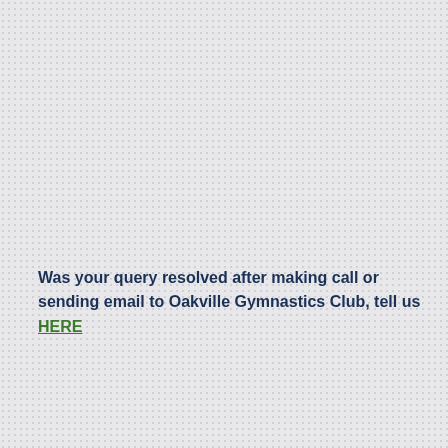Was your query resolved after making call or sending email to Oakville Gymnastics Club, tell us HERE